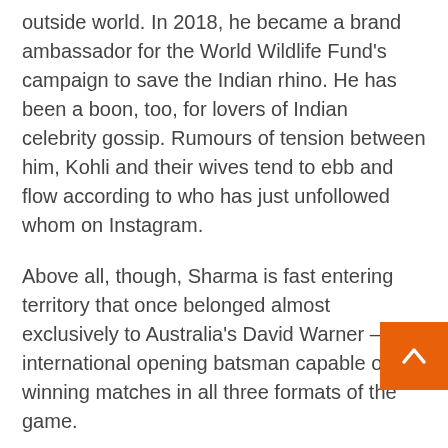outside world. In 2018, he became a brand ambassador for the World Wildlife Fund's campaign to save the Indian rhino. He has been a boon, too, for lovers of Indian celebrity gossip. Rumours of tension between him, Kohli and their wives tend to ebb and flow according to who has just unfollowed whom on Instagram.
Above all, though, Sharma is fast entering territory that once belonged almost exclusively to Australia's David Warner — an international opening batsman capable of winning matches in all three formats of the game.
He is already a white-ball colossus, as his five centuries at the 2019 World Cup so vividly proved.
But if he can keep going like this as a Test opener, India may prove unstoppable.